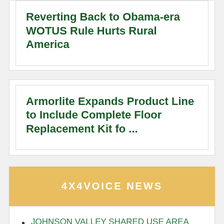Reverting Back to Obama-era WOTUS Rule Hurts Rural America
Armorlite Expands Product Line to Include Complete Floor Replacement Kit fo ...
4X4VOICE NEWS
JOHNSON VALLEY SHARED USE AREA CLOSURE FOR FALL 2021; PLEASE NOTE